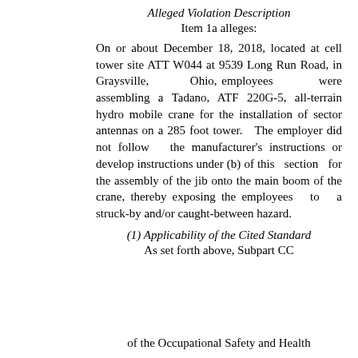Alleged Violation Description
Item 1a alleges:
On or about December 18, 2018, located at cell tower site ATT W044 at 9539 Long Run Road, in Graysville, Ohio, employees were assembling a Tadano, ATF 220G-5, all-terrain hydro mobile crane for the installation of sector antennas on a 285 foot tower. The employer did not follow the manufacturer's instructions or develop instructions under (b) of this section for the assembly of the jib onto the main boom of the crane, thereby exposing the employees to a struck-by and/or caught-between hazard.
(1) Applicability of the Cited Standard
As set forth above, Subpart CC
of the Occupational Safety and Health